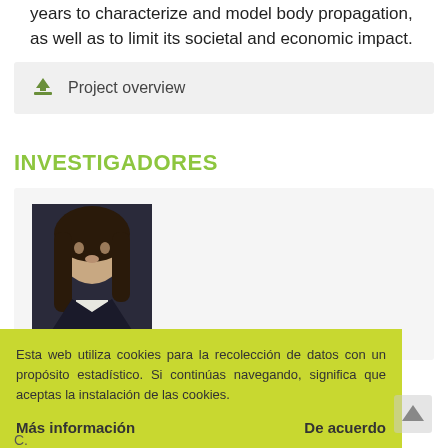years to characterize and model body propagation, as well as to limit its societal and economic impact.
Project overview
INVESTIGADORES
[Figure (photo): Headshot photo of researcher Massimiliano Zanin with long dark hair, wearing a dark jacket]
MASSIMILIANO ZANIN
Esta web utiliza cookies para la recolección de datos con un propósito estadístico. Si continúas navegando, significa que aceptas la instalación de las cookies.
Más información
De acuerdo
PUBLICACIONES RECIENTES
C. Reproducción...